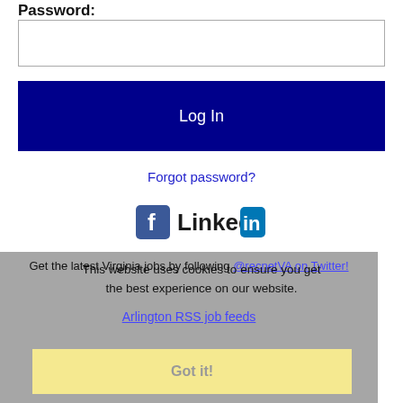Password:
[Figure (screenshot): Password input text field (empty, white background with gray border)]
Log In
Forgot password?
[Figure (logo): Facebook logo icon and LinkedIn logo side by side]
Get the latest Virginia jobs by following @recnetVA on Twitter!
Arlington RSS job feeds
This website uses cookies to ensure you get the best experience on our website.
Got it!